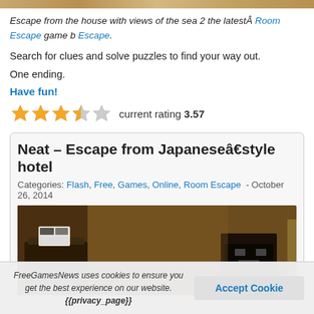[Figure (photo): Top strip of a coastal house scene image, cropped]
Escape from the house with views of the sea 2 the latestÂ Room Escape game b Escape.
Search for clues and solve puzzles to find your way out.
One ending.
Have fun!
[Figure (other): Star rating: 3.57 out of 5 stars (3 full stars, 1 half star, 1 empty star)]
Neat – Escape from Japaneseâ€style hotel
Categories: Flash, Free, Games, Online, Room Escape - October 26, 2014
[Figure (photo): Interior of a dark Japanese-style hotel room with wooden furniture and a small device/screen on a dresser]
FreeGamesNews uses cookies to ensure you get the best experience on our website. {{privacy_page}}
Accept Cookie